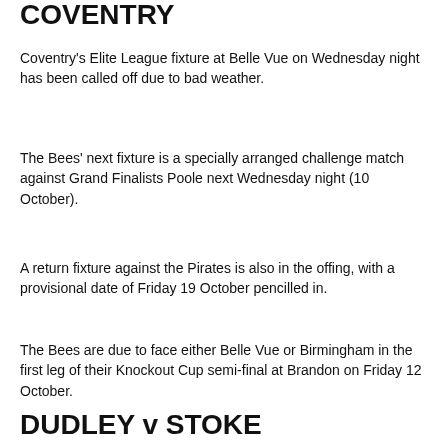COVENTRY
Coventry's Elite League fixture at Belle Vue on Wednesday night has been called off due to bad weather.
The Bees' next fixture is a specially arranged challenge match against Grand Finalists Poole next Wednesday night (10 October).
A return fixture against the Pirates is also in the offing, with a provisional date of Friday 19 October pencilled in.
The Bees are due to face either Belle Vue or Birmingham in the first leg of their Knockout Cup semi-final at Brandon on Friday 12 October.
DUDLEY v STOKE
Dudley Heathens' weather-hit National League play-off